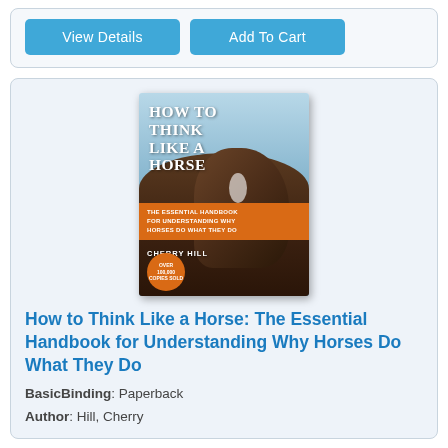[Figure (screenshot): Two buttons: 'View Details' and 'Add To Cart', styled in teal/blue on a light gray card background]
[Figure (photo): Book cover of 'How to Think Like a Horse: The Essential Handbook for Understanding Why Horses Do What They Do' by Cherry Hill, showing a close-up of a horse face against a blue sky, with an orange subtitle band and orange circular badge reading 'Over 100,000 copies sold']
How to Think Like a Horse: The Essential Handbook for Understanding Why Horses Do What They Do
BasicBinding: Paperback
Author: Hill, Cherry